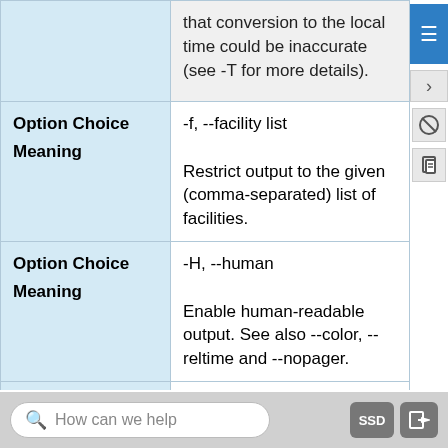| Option / Meaning | Description |
| --- | --- |
|  | that conversion to the local time could be inaccurate (see -T for more details). |
| Option Choice
Meaning | -f, --facility list
Restrict output to the given (comma-separated) list of facilities. |
| Option Choice
Meaning | -H, --human
Enable human-readable output. See also --color, --reltime and --nopager. |
| Option Choice
Meaning | -L, --color[=when]
Colorize the output. The optional argument when can be auto, never or always. If the when argument is omitted, it defaults to auto. The colors can be disabled; for the current built- |
How can we help